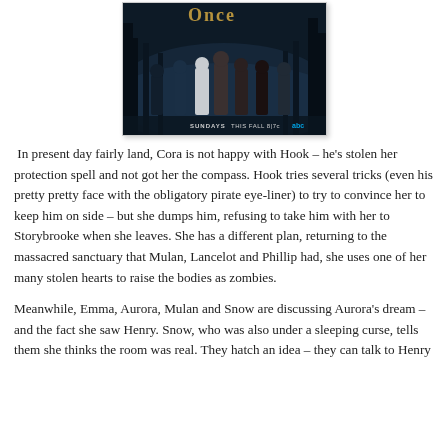[Figure (photo): TV show promo image for 'Once Upon a Time' on ABC, showing characters standing in a dark misty forest with the show title in gold lettering at the top. Text at bottom reads 'SUNDAYS THIS FALL 8|7c abc'.]
In present day fairly land, Cora is not happy with Hook – he's stolen her protection spell and not got her the compass. Hook tries several tricks (even his pretty pretty face with the obligatory pirate eye-liner) to try to convince her to keep him on side – but she dumps him, refusing to take him with her to Storybrooke when she leaves. She has a different plan, returning to the massacred sanctuary that Mulan, Lancelot and Phillip had, she uses one of her many stolen hearts to raise the bodies as zombies.
Meanwhile, Emma, Aurora, Mulan and Snow are discussing Aurora's dream – and the fact she saw Henry. Snow, who was also under a sleeping curse, tells them she thinks the room was real. They hatch an idea – they can talk to Henry